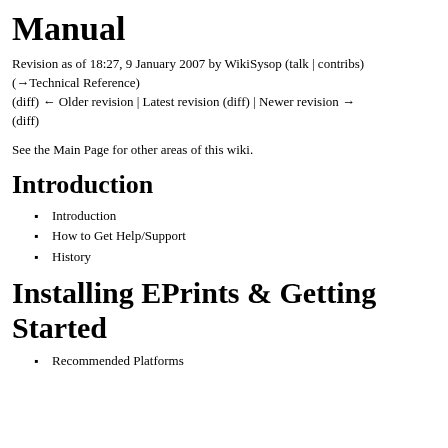Manual
Revision as of 18:27, 9 January 2007 by WikiSysop (talk | contribs) (→Technical Reference)
(diff) ← Older revision | Latest revision (diff) | Newer revision → (diff)
See the Main Page for other areas of this wiki.
Introduction
Introduction
How to Get Help/Support
History
Installing EPrints & Getting Started
Recommended Platforms